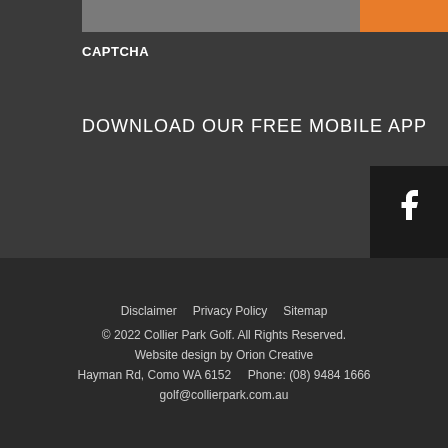[Figure (other): Gray and orange top bar / form element area]
CAPTCHA
DOWNLOAD OUR FREE MOBILE APP
[Figure (other): Social media sidebar with Facebook, Instagram, and LinkedIn icons]
Disclaimer   Privacy Policy   Sitemap
© 2022 Collier Park Golf. All Rights Reserved.
Website design by Orion Creative
Hayman Rd, Como WA 6152     Phone: (08) 9484 1666
golf@collierpark.com.au